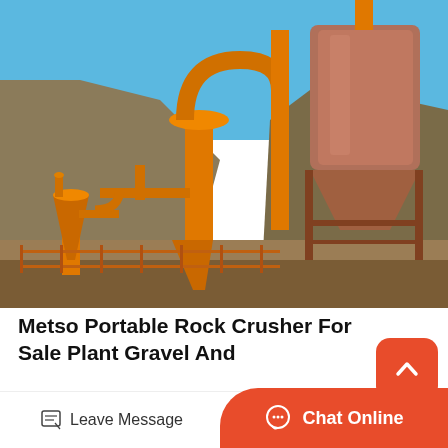[Figure (photo): Outdoor industrial rock crushing and processing plant with orange-painted machinery including cyclone separators, pipes, conveyor systems, and a large conical hopper/silo structure, set against rocky terrain and blue sky.]
Metso Portable Rock Crusher For Sale Plant Gravel And
Metso stone crusher for sale 30yrs on crusher machine. metso used 1999 eagle crusher model 50005cv portable impact crushing plant
Leave Message
Chat Online